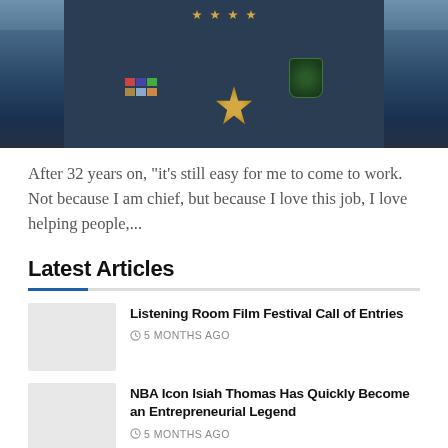[Figure (photo): Close-up photo of a police chief in a dark blue uniform with badge, shoulder patch, and service ribbons visible on the chest]
After 32 years on, “it’s still easy for me to come to work. Not because I am chief, but because I love this job, I love helping people,...
Latest Articles
Listening Room Film Festival Call of Entries
5 MONTHS AGO
NBA Icon Isiah Thomas Has Quickly Become an Entrepreneurial Legend
5 MONTHS AGO